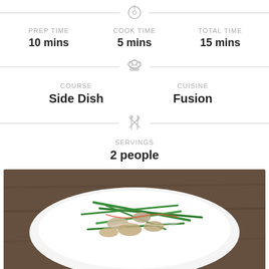PREP TIME: 10 mins | COOK TIME: 5 mins | TOTAL TIME: 15 mins
COURSE: Side Dish | CUISINE: Fusion
SERVINGS: 2 people
[Figure (photo): A white plate with a salad of green beans, mushrooms, and other vegetables with a sauce, on a dark wooden background]